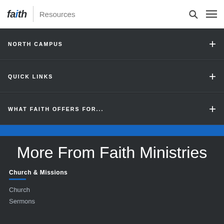faith | Resources
NORTH CAMPUS
QUICK LINKS
WHAT FAITH OFFERS FOR...
More From Faith Ministries
Church & Missions
Church
Sermons